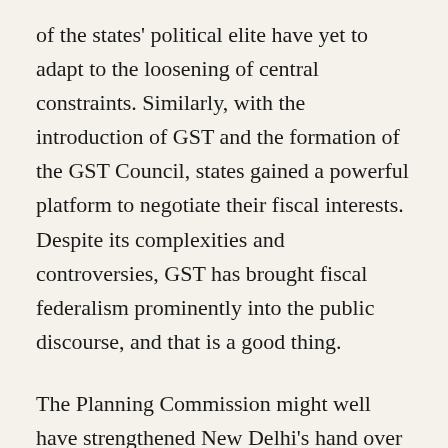of the states' political elite have yet to adapt to the loosening of central constraints. Similarly, with the introduction of GST and the formation of the GST Council, states gained a powerful platform to negotiate their fiscal interests. Despite its complexities and controversies, GST has brought fiscal federalism prominently into the public discourse, and that is a good thing.

The Planning Commission might well have strengthened New Delhi's hand over that of states, but the Finance Commission's quiet, transparent and professional functioning